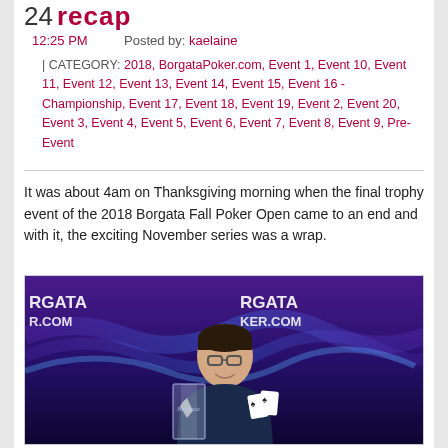24 Recap
12:25 PM   Posted by: kaelaine
| CATEGORY: 2018, BorgataPoker.com, Event 1, Event 10, Event 11, Event 12, Event 13, Event 14, Event 15, Event 16 - Championship, Event 17, Event 18, Event 19, Event 2, Event 20, Event 3, Event 4, Event 5, Event 6, Event 7, Event 8, Event 9, Pre-Event
It was about 4am on Thanksgiving morning when the final trophy event of the 2018 Borgata Fall Poker Open came to an end and with it, the exciting November series was a wrap.
[Figure (photo): A young man with glasses smiling, holding playing cards and a Borgata trophy, seated at a poker table with a Borgata Poker.com branded screen in the background.]